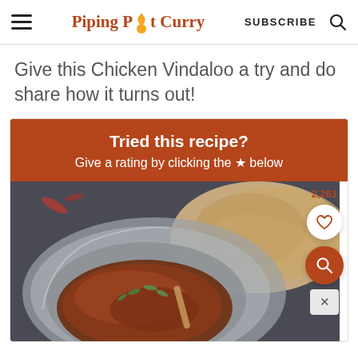Piping Pot Curry | SUBSCRIBE
Give this Chicken Vindaloo a try and do share how it turns out!
[Figure (infographic): Red/brown banner with white text: 'Tried this recipe? Give a rating by clicking the ★ below', followed by a food photo of chicken vindaloo curry in a metal bowl with naan bread, with like count 2,261 and action buttons on the right side]
Tried this recipe? Give a rating by clicking the ★ below